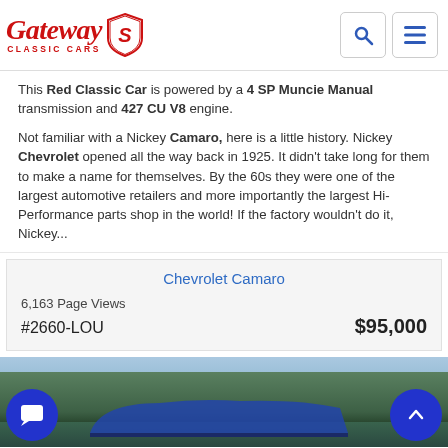Gateway Classic Cars
This Red Classic Car is powered by a 4 SP Muncie Manual transmission and 427 CU V8 engine.

Not familiar with a Nickey Camaro, here is a little history. Nickey Chevrolet opened all the way back in 1925. It didn't take long for them to make a name for themselves. By the 60s they were one of the largest automotive retailers and more importantly the largest Hi-Performance parts shop in the world! If the factory wouldn't do it, Nickey...
Chevrolet Camaro
6,163 Page Views
#2660-LOU   $95,000
[Figure (photo): Blue classic Camaro car photographed outdoors with trees in background]